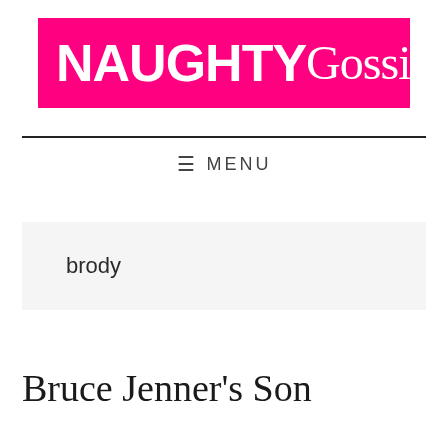[Figure (logo): NaughtyGossip logo — hot pink rectangle with white bold NAUGHTY and serif Gossip text]
≡  MENU
brody
Bruce Jenner's Son